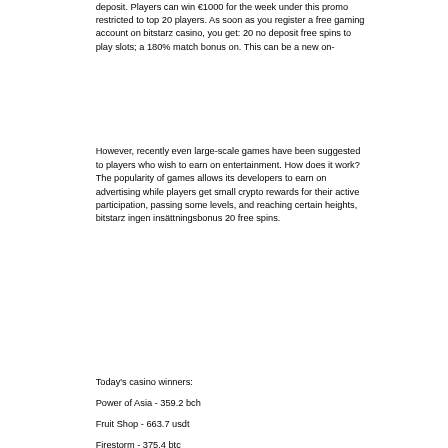deposit. Players can win €1000 for the week under this promo restricted to top 20 players. As soon as you register a free gaming account on bitstarz casino, you get: 20 no deposit free spins to play slots; a 180% match bonus on. This can be a new on-
However, recently even large-scale games have been suggested to players who wish to earn on entertainment. How does it work? The popularity of games allows its developers to earn on advertising while players get small crypto rewards for their active participation, passing some levels, and reaching certain heights, bitstarz ingen insättningsbonus 20 free spins.
Today's casino winners:
Power of Asia - 359.2 bch
Fruit Shop - 663.7 usdt
Firestorm - 375.4 btc